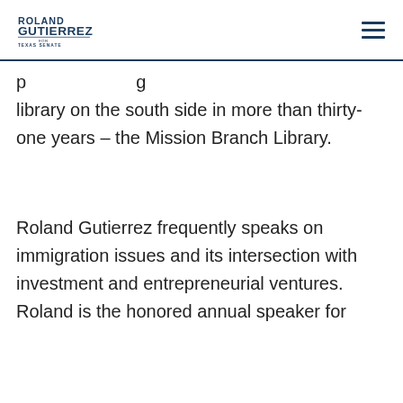Roland Gutierrez for Texas Senate
library on the south side in more than thirty-one years – the Mission Branch Library.
Roland Gutierrez frequently speaks on immigration issues and its intersection with investment and entrepreneurial ventures. Roland is the honored annual speaker for